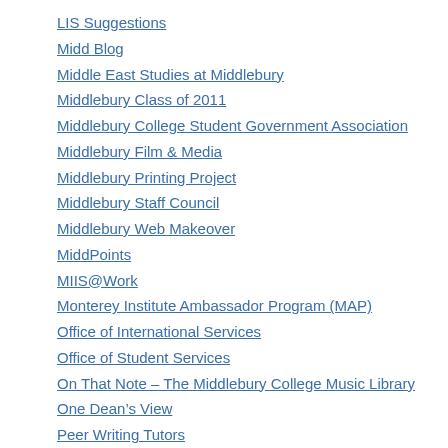LIS Suggestions
Midd Blog
Middle East Studies at Middlebury
Middlebury Class of 2011
Middlebury College Student Government Association
Middlebury Film & Media
Middlebury Printing Project
Middlebury Staff Council
Middlebury Web Makeover
MiddPoints
MIIS@Work
Monterey Institute Ambassador Program (MAP)
Office of International Services
Office of Student Services
On That Note – The Middlebury College Music Library
One Dean's View
Peer Writing Tutors
Pre-Law Club
Presidential Power